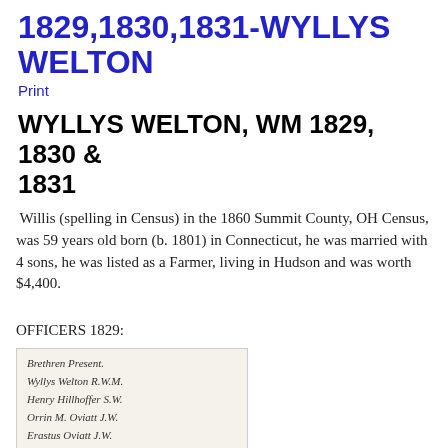1829,1830,1831-WYLLYS WELTON
Print
WYLLYS WELTON, WM 1829, 1830 & 1831
Willis (spelling in Census) in the 1860 Summit County, OH Census, was 59 years old born (b. 1801) in Connecticut, he was married with 4 sons, he was listed as a Farmer, living in Hudson and was worth $4,400.
OFFICERS 1829:
[Figure (photo): Handwritten document showing Masonic officers list for 1829, including names Brethren Present, Wyllys Welton R.W.M., Henry Hillhoffer S.W., Orrin M. Oviatt J.W., Erastus Oviatt (partially visible)]